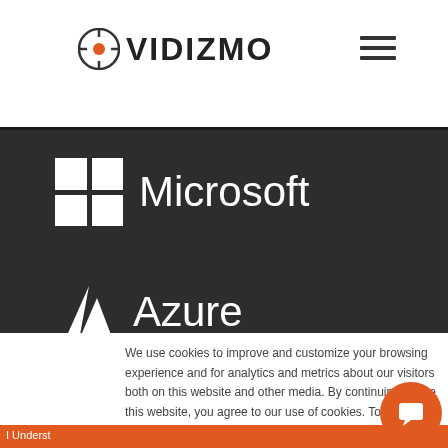VIDIZMO
[Figure (logo): Microsoft logo with white Windows grid icon and 'Microsoft' text in white on dark background]
[Figure (logo): Microsoft Azure logo with white triangle/mountain icon and 'Azure' text in white on dark background]
We use cookies to improve and customize your browsing experience and for analytics and metrics about our visitors both on this website and other media. By continuing to use this website, you agree to our use of cookies. To find out more about the cookies we use, see our Privacy Policy.